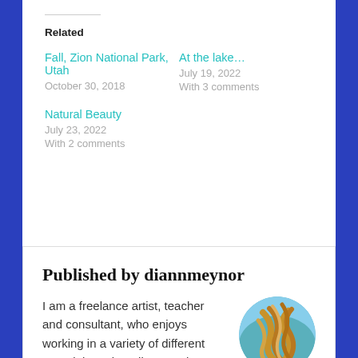Related
Fall, Zion National Park, Utah
October 30, 2018
At the lake…
July 19, 2022
With 3 comments
Natural Beauty
July 23, 2022
With 2 comments
Published by diannmeynor
I am a freelance artist, teacher and consultant, who enjoys working in a variety of different materials and mediums. I always say a "jack of all
[Figure (photo): Circular avatar photo showing abstract artistic image with brown and teal colors]